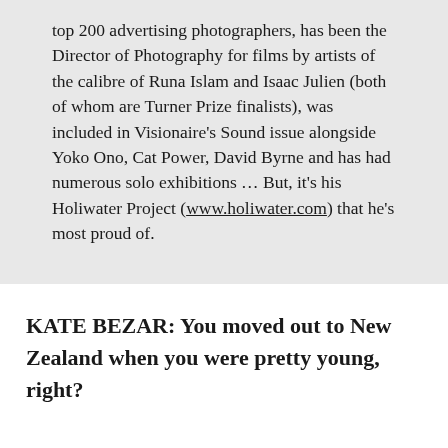top 200 advertising photographers, has been the Director of Photography for films by artists of the calibre of Runa Islam and Isaac Julien (both of whom are Turner Prize finalists), was included in Visionaire's Sound issue alongside Yoko Ono, Cat Power, David Byrne and has had numerous solo exhibitions … But, it's his Holiwater Project (www.holiwater.com) that he's most proud of.
KATE BEZAR: You moved out to New Zealand when you were pretty young, right?